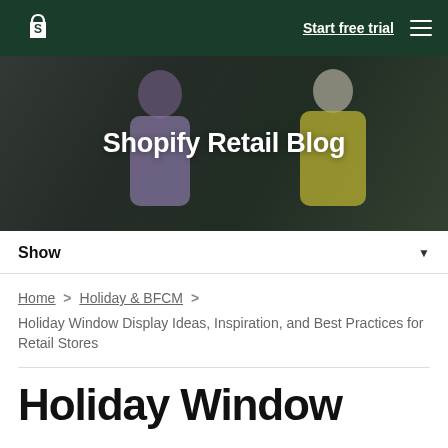Shopify — Start free trial
[Figure (photo): Hero banner image showing two people exchanging something, one in a purple/lavender shirt and one in a yellow jacket, with dark overlay and 'Shopify Retail Blog' text centered]
Shopify Retail Blog
Show
Home > Holiday & BFCM > Holiday Window Display Ideas, Inspiration, and Best Practices for Retail Stores
Holiday Window